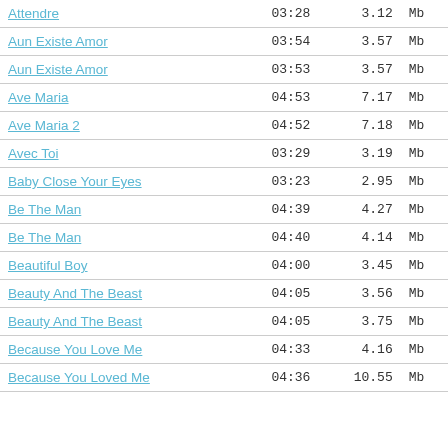| Title | Duration | Size |
| --- | --- | --- |
| Attendre | 03:28 | 3.12 Mb |
| Aun Existe Amor | 03:54 | 3.57 Mb |
| Aun Existe Amor | 03:53 | 3.57 Mb |
| Ave Maria | 04:53 | 7.17 Mb |
| Ave Maria 2 | 04:52 | 7.18 Mb |
| Avec Toi | 03:29 | 3.19 Mb |
| Baby Close Your Eyes | 03:23 | 2.95 Mb |
| Be The Man | 04:39 | 4.27 Mb |
| Be The Man | 04:40 | 4.14 Mb |
| Beautiful Boy | 04:00 | 3.45 Mb |
| Beauty And The Beast | 04:05 | 3.56 Mb |
| Beauty And The Beast | 04:05 | 3.75 Mb |
| Because You Love Me | 04:33 | 4.16 Mb |
| Because You Loved Me | 04:36 | 10.55 Mb |